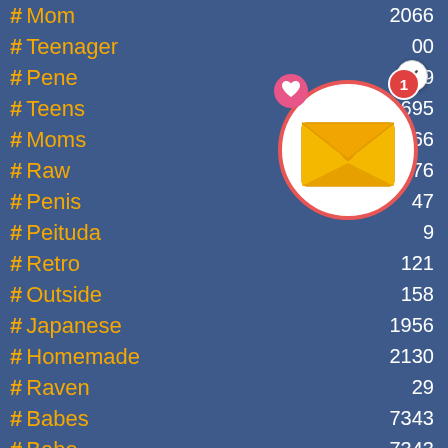# Mom  2066
# Teenager  00
# Pene  9
# Teens  4695
# Moms  2066
# Raw  76
# Penis  47
# Peituda  9
# Retro  121
# Outside  158
# Japanese  1956
# Homemade  2130
# Raven  29
# Babes  7343
# Babe  7343
# Public  1849
[Figure (illustration): Notification popup with envelope/email icon in white circle with red border, heart badge top-left, number 1 badge, and X close button]